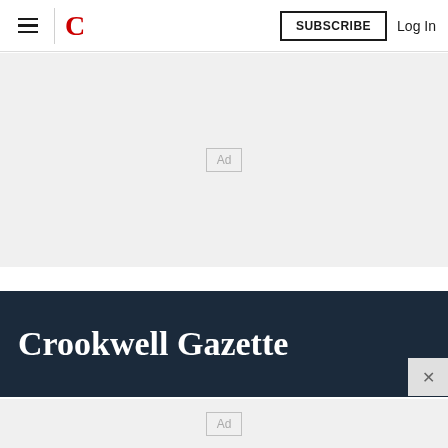≡ | C   SUBSCRIBE   Log In
[Figure (other): Ad placeholder box centered in a light gray area]
Crookwell Gazette
[Figure (other): Ad placeholder box centered in a light gray area at the bottom]